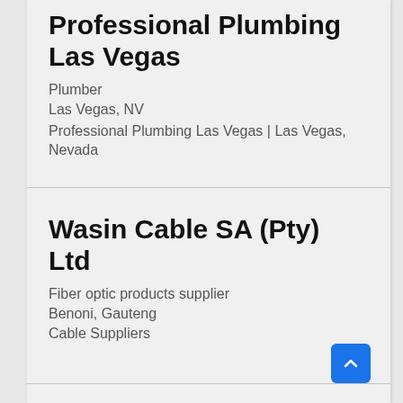Professional Plumbing Las Vegas
Plumber
Las Vegas, NV
Professional Plumbing Las Vegas | Las Vegas, Nevada
Wasin Cable SA (Pty) Ltd
Fiber optic products supplier
Benoni, Gauteng
Cable Suppliers
Elmhurst Village
Apartment rental agency